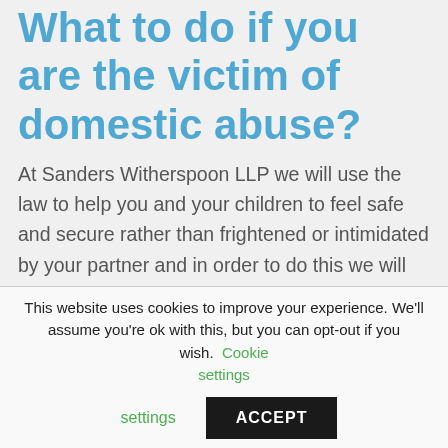What to do if you are the victim of domestic abuse?
At Sanders Witherspoon LLP we will use the law to help you and your children to feel safe and secure rather than frightened or intimidated by your partner and in order to do this we will ask you to tell us if you are experiencing problems and are frightened.  Once we have this information we will then be able to advise you about the protection you can get from the court and can apply for
This website uses cookies to improve your experience. We'll assume you're ok with this, but you can opt-out if you wish. Cookie settings ACCEPT